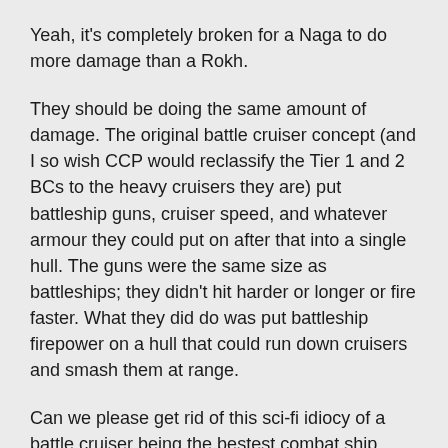Yeah, it's completely broken for a Naga to do more damage than a Rokh.
They should be doing the same amount of damage. The original battle cruiser concept (and I so wish CCP would reclassify the Tier 1 and 2 BCs to the heavy cruisers they are) put battleship guns, cruiser speed, and whatever armour they could put on after that into a single hull. The guns were the same size as battleships; they didn't hit harder or longer or fire faster. What they did do was put battleship firepower on a hull that could run down cruisers and smash them at range.
Can we please get rid of this sci-fi idiocy of a battle cruiser being the bestest combat ship ever?